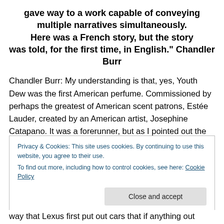gave way to a work capable of conveying multiple narratives simultaneously. Here was a French story, but the story was told, for the first time, in English." Chandler Burr
Chandler Burr: My understanding is that, yes, Youth Dew was the first American perfume. Commissioned by perhaps the greatest of American scent patrons, Estée Lauder, created by an American artist, Josephine Catapano. It was a forerunner, but as I pointed out the Art of Scent exhibition, when artists import styles from other
Privacy & Cookies: This site uses cookies. By continuing to use this website, you agree to their use.
To find out more, including how to control cookies, see here: Cookie Policy
Close and accept
way that Lexus first put out cars that if anything out